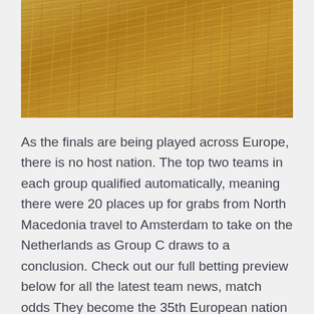[Figure (photo): Close-up photograph of golden wheat stalks in a field]
As the finals are being played across Europe, there is no host nation. The top two teams in each group qualified automatically, meaning there were 20 places up for grabs from North Macedonia travel to Amsterdam to take on the Netherlands as Group C draws to a conclusion. Check out our full betting preview below for all the latest team news, match odds They become the 35th European nation to qualify for th Euro 2020 was postponed last year because of the pandemic.